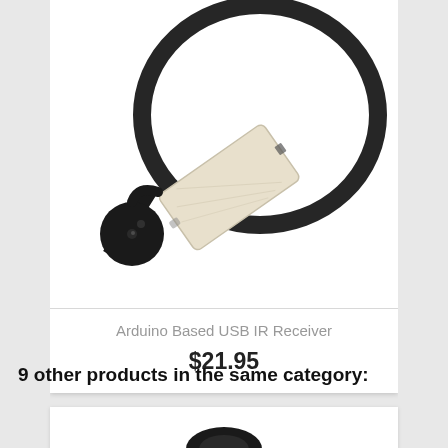[Figure (photo): Arduino Based USB IR Receiver device — a cream/white rectangular USB dongle with a black IR sensor attached via cable, coiled black USB cable visible in background, on white background]
Arduino Based USB IR Receiver
$21.95
9 other products in the same category:
[Figure (photo): Partially visible product image at bottom of page, showing a dark/black device against white background]